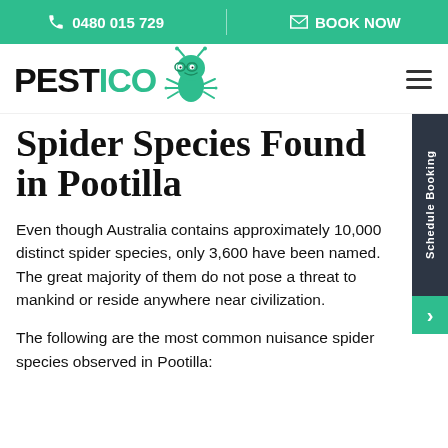0480 015 729  |  BOOK NOW
[Figure (logo): PESTICO logo with green cartoon bug mascot wearing glasses]
Spider Species Found in Pootilla
Even though Australia contains approximately 10,000 distinct spider species, only 3,600 have been named. The great majority of them do not pose a threat to mankind or reside anywhere near civilization.
The following are the most common nuisance spider species observed in Pootilla: